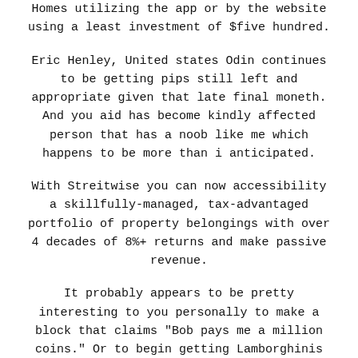Homes utilizing the app or by the website using a least investment of $five hundred.
Eric Henley, United states Odin continues to be getting pips still left and appropriate given that late final moneth. And you aid has become kindly affected person that has a noob like me which happens to be more than i anticipated.
With Streitwise you can now accessibility a skillfully-managed, tax-advantaged portfolio of property belongings with over 4 decades of 8%+ returns and make passive revenue.
It probably appears to be pretty interesting to you personally to make a block that claims "Bob pays me a million coins." Or to begin getting Lamborghinis